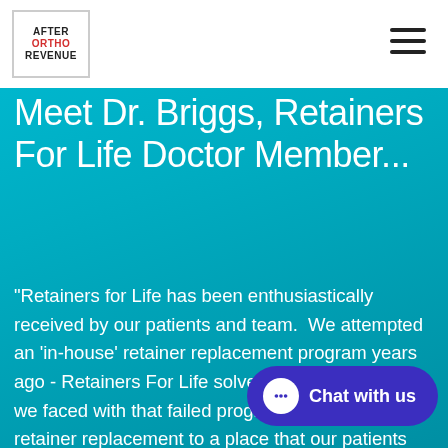AFTER ORTHO REVENUE
Meet Dr. Briggs, Retainers For Life Doctor Member...
"Retainers for Life has been enthusiastically received by our patients and team.  We attempted an 'in-house' retainer replacement program years ago - Retainers For Life solves all of the problems we faced with that failed program and brings retainer replacement to a place that our patients expe[rienced as convenient an]d easy."